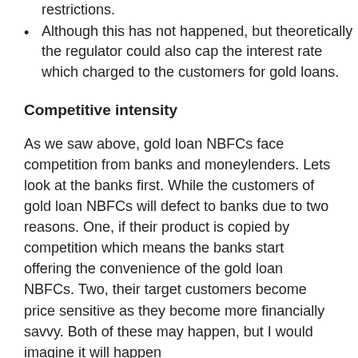restrictions.
Although this has not happened, but theoretically the regulator could also cap the interest rate which charged to the customers for gold loans.
Competitive intensity
As we saw above, gold loan NBFCs face competition from banks and moneylenders. Lets look at the banks first. While the customers of gold loan NBFCs will defect to banks due to two reasons. One, if their product is copied by competition which means the banks start offering the convenience of the gold loan NBFCs. Two, their target customers become price sensitive as they become more financially savvy. Both of these may happen, but I would imagine it will happen